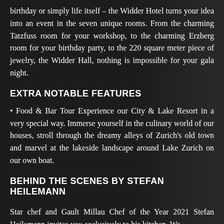birthday or simply life itself – the Widder Hotel turns your idea into an event in the seven unique rooms. From the charming Tatzfuss room for your workshop, to the charming Erzberg room for your birthday party, to the 220 square meter piece of jewelry, the Widder Hall, nothing is impossible for your gala night.
EXTRA NOTABLE FEATURES
• Food & Bar Tour Experience our City & Lake Resort in a very special way. Immerse yourself in the culinary world of our houses, stroll through the dreamy alleys of Zurich's old town and marvel at the lakeside landscape around Lake Zurich on our own boat.
BEHIND THE SCENES BY STEFAN HEILEMANN
Star chef and Gault Millau Chef of the Year 2021 Stefan Heilemann invites you exclusively to his kitchen. We